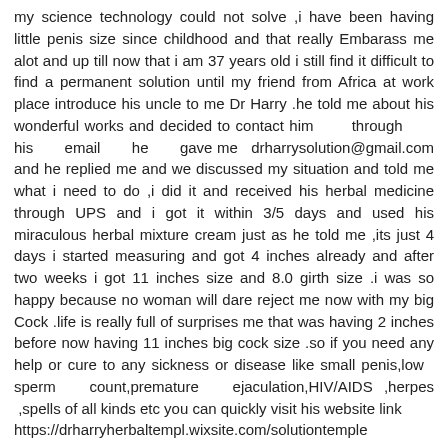my science technology could not solve ,i have been having little penis size since childhood and that really Embarass me alot and up till now that i am 37 years old i still find it difficult to find a permanent solution until my friend from Africa at work place introduce his uncle to me Dr Harry .he told me about his wonderful works and decided to contact him through his email he gave me drharrysolution@gmail.com and he replied me and we discussed my situation and told me what i need to do ,i did it and received his herbal medicine through UPS and i got it within 3/5 days and used his miraculous herbal mixture cream just as he told me ,its just 4 days i started measuring and got 4 inches already and after two weeks i got 11 inches size and 8.0 girth size .i was so happy because no woman will dare reject me now with my big Cock .life is really full of surprises me that was having 2 inches before now having 11 inches big cock size .so if you need any help or cure to any sickness or disease like small penis,low sperm count,premature ejaculation,HIV/AIDS ,herpes ,spells of all kinds etc you can quickly visit his website link https://drharryherbaltempl.wixsite.com/solutiontemple